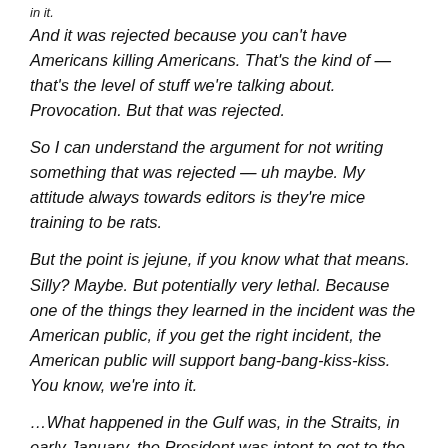in it.
And it was rejected because you can't have Americans killing Americans. That's the kind of — that's the level of stuff we're talking about. Provocation. But that was rejected.
So I can understand the argument for not writing something that was rejected — uh maybe. My attitude always towards editors is they're mice training to be rats.
But the point is jejune, if you know what that means. Silly? Maybe. But potentially very lethal. Because one of the things they learned in the incident was the American public, if you get the right incident, the American public will support bang-bang-kiss-kiss. You know, we're into it.
…What happened in the Gulf was, in the Straits, in early January, the President was intent to get to the Middle